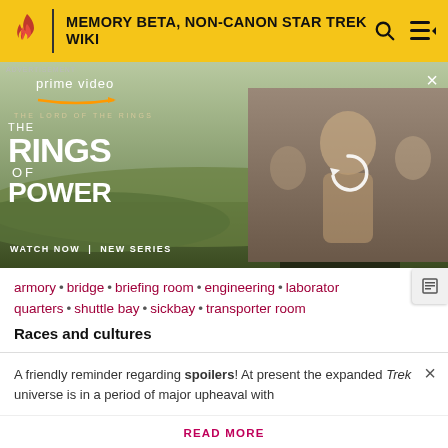MEMORY BETA, NON-CANON STAR TREK WIKI
[Figure (screenshot): Amazon Prime Video advertisement for The Lord of the Rings: The Rings of Power. Shows two characters from the show on left side, and a blurred group of characters on the right panel with a refresh icon. Text reads: prime video, THE LORD OF THE RINGS, THE RINGS OF POWER, WATCH NOW | NEW SERIES]
armory • bridge • briefing room • engineering • laboratory quarters • shuttle bay • sickbay • transporter room
Races and cultures
Caitian • Human • Edosian or Triexian • Romulan •
A friendly reminder regarding spoilers! At present the expanded Trek universe is in a period of major upheaval with
READ MORE